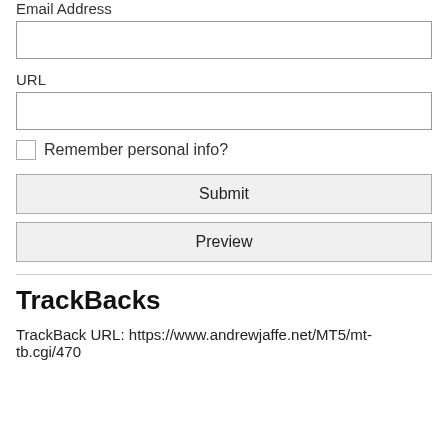Email Address
URL
Remember personal info?
Submit
Preview
TrackBacks
TrackBack URL: https://www.andrewjaffe.net/MT5/mt-tb.cgi/470